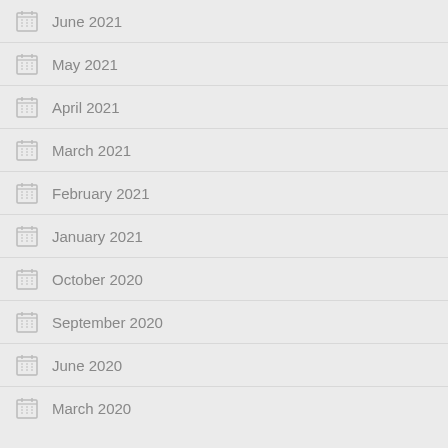June 2021
May 2021
April 2021
March 2021
February 2021
January 2021
October 2020
September 2020
June 2020
March 2020